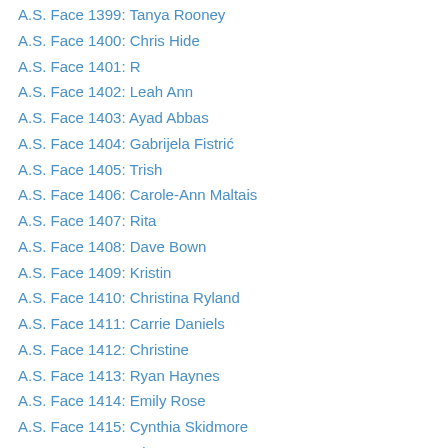A.S. Face 1399: Tanya Rooney
A.S. Face 1400: Chris Hide
A.S. Face 1401: R
A.S. Face 1402: Leah Ann
A.S. Face 1403: Ayad Abbas
A.S. Face 1404: Gabrijela Fistrić
A.S. Face 1405: Trish
A.S. Face 1406: Carole-Ann Maltais
A.S. Face 1407: Rita
A.S. Face 1408: Dave Bown
A.S. Face 1409: Kristin
A.S. Face 1410: Christina Ryland
A.S. Face 1411: Carrie Daniels
A.S. Face 1412: Christine
A.S. Face 1413: Ryan Haynes
A.S. Face 1414: Emily Rose
A.S. Face 1415: Cynthia Skidmore
A.S. Face 1416: Missy Faus
A.S. Face 1417: Dee Dee Hubbs
A.S. Face 1418: Nick Curry